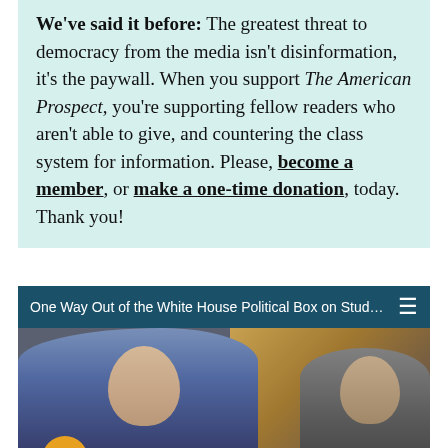We've said it before: The greatest threat to democracy from the media isn't disinformation, it's the paywall. When you support The American Prospect, you're supporting fellow readers who aren't able to give, and countering the class system for information. Please, become a member, or make a one-time donation, today. Thank you!
[Figure (screenshot): Video player bar showing title 'One Way Out of the White House Political Box on Student Debt, ...' with hamburger menu icon on teal/dark background, and below it a video thumbnail showing two men (one appears to be President Biden speaking at a podium, another man to the right), with a yellow mute button in the lower left of the thumbnail.]